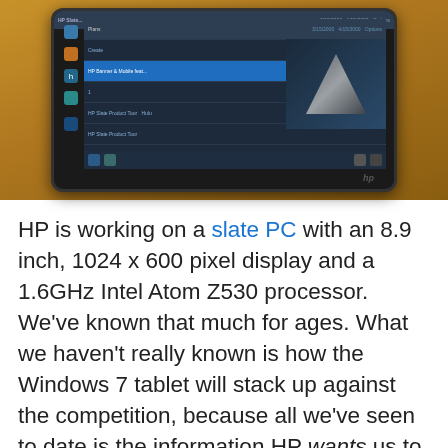[Figure (photo): Photo of an HP tablet/slate PC showing a Windows-style interface on screen, sitting on a wooden surface]
HP is working on a slate PC with an 8.9 inch, 1024 x 600 pixel display and a 1.6GHz Intel Atom Z530 processor. We've known that much for ages. What we haven't really known is how the Windows 7 tablet will stack up against the competition, because all we've seen to date is the information HP wants us to see. But the folks at Conecti.ca got their hands on a real, pre-production model and the verdict is… that it's alright, but